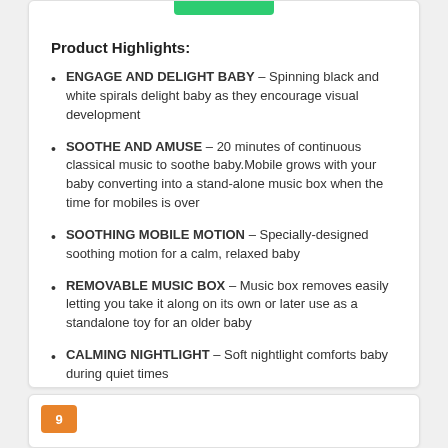Product Highlights:
ENGAGE AND DELIGHT BABY – Spinning black and white spirals delight baby as they encourage visual development
SOOTHE AND AMUSE – 20 minutes of continuous classical music to soothe baby.Mobile grows with your baby converting into a stand-alone music box when the time for mobiles is over
SOOTHING MOBILE MOTION – Specially-designed soothing motion for a calm, relaxed baby
REMOVABLE MUSIC BOX – Music box removes easily letting you take it along on its own or later use as a standalone toy for an older baby
CALMING NIGHTLIGHT – Soft nightlight comforts baby during quiet times
9